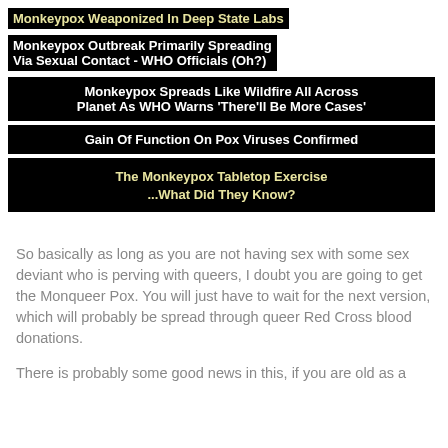Monkeypox Weaponized In Deep State Labs
Monkeypox Outbreak Primarily Spreading Via Sexual Contact - WHO Officials (Oh?)
Monkeypox Spreads Like Wildfire All Across Planet As WHO Warns 'There'll Be More Cases'
Gain Of Function On Pox Viruses Confirmed
The Monkeypox Tabletop Exercise ...What Did They Know?
So basically as long as you are not having sex with some sex deviant who is perving with queers, I doubt you are going to get the Monqueer Pox. You will just have to wait for the next version, which will probably be spread through queer Red Cross blood donations.
There is probably some good news in this, if you are old as a